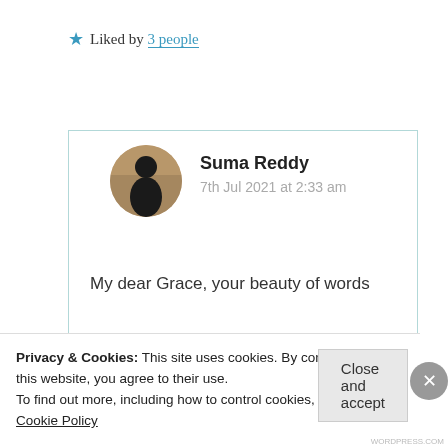★ Liked by 3 people
Log in to Reply
Suma Reddy
7th Jul 2021 at 2:33 am
My dear Grace, your beauty of words n views always hits my heart straight.
Privacy & Cookies: This site uses cookies. By continuing to use this website, you agree to their use. To find out more, including how to control cookies, see here: Cookie Policy
Close and accept